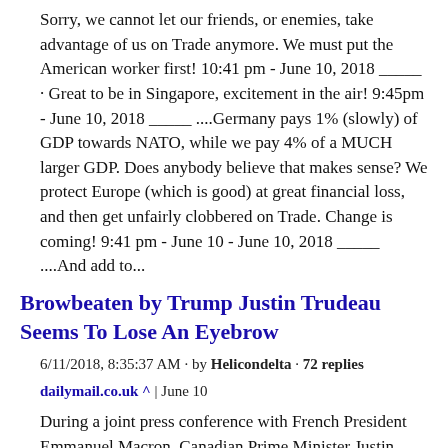Sorry, we cannot let our friends, or enemies, take advantage of us on Trade anymore. We must put the American worker first! 10:41 pm - June 10, 2018 _____ · Great to be in Singapore, excitement in the air! 9:45pm - June 10, 2018 _____ ....Germany pays 1% (slowly) of GDP towards NATO, while we pay 4% of a MUCH larger GDP. Does anybody believe that makes sense? We protect Europe (which is good) at great financial loss, and then get unfairly clobbered on Trade. Change is coming! 9:41 pm - June 10 - June 10, 2018 _____ ....And add to...
Browbeaten by Trump Justin Trudeau Seems To Lose An Eyebrow
6/11/2018, 8:35:37 AM · by Helicondelta · 72 replies
dailymail.co.uk ^ | June 10
During a joint press conference with French President Emmanuel Macron, Canadian Prime Minister Justin Trudeau's eyebrow seems to slide down his face. It...